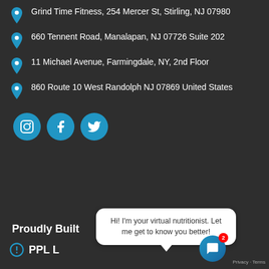Grind Time Fitness, 254 Mercer St, Stirling, NJ 07980
660 Tennent Road, Manalapan, NJ 07726 Suite 202
11 Michael Avenue, Farmingdale, NY, 2nd Floor
860 Route 10 West Randolph NJ 07869 United States
[Figure (infographic): Social media icons: Instagram, Facebook, Twitter in blue circles]
Proudly Built
PPL L...
Hi! I'm your virtual nutritionist. Let me get to know you better!